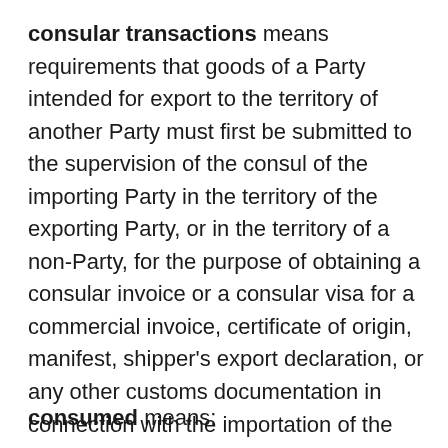consular transactions means requirements that goods of a Party intended for export to the territory of another Party must first be submitted to the supervision of the consul of the importing Party in the territory of the exporting Party, or in the territory of a non-Party, for the purpose of obtaining a consular invoice or a consular visa for a commercial invoice, certificate of origin, manifest, shipper's export declaration, or any other customs documentation in connection with the importation of the good;
consumed means: